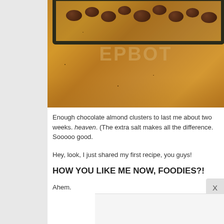[Figure (photo): Close-up photo of chocolate almond clusters on a textured surface, with a dark tray/bowl visible at top. EPBOT watermark overlaid on the image.]
Enough chocolate almond clusters to last me about two weeks. heaven. (The extra salt makes all the difference. Sooooo good.
Hey, look, I just shared my first recipe, you guys!
HOW YOU LIKE ME NOW, FOODIES?!
Ahem.